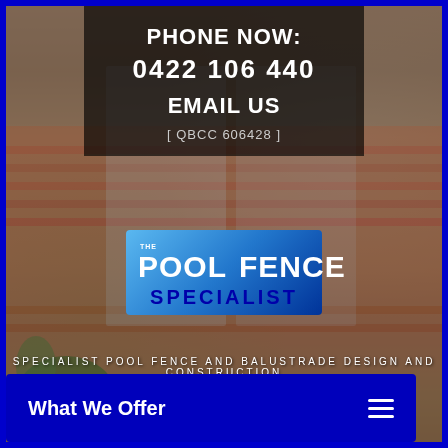PHONE NOW:
0422 106 440
EMAIL US
[ QBCC 606428 ]
[Figure (logo): The Pool Fence Specialist logo — blue gradient background with white bold text 'POOL' and 'FENCE' side by side separated by a vertical white line, with 'THE' superscript, and 'SPECIALIST' in dark blue below]
SPECIALIST POOL FENCE AND BALUSTRADE DESIGN AND CONSTRUCTION
What We Offer